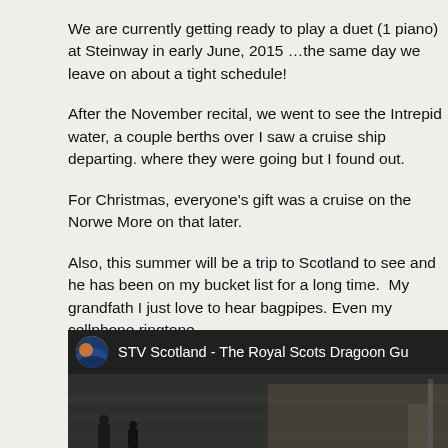We are currently getting ready to play a duet (1 piano) at Steinway in early June, 2015 …the same day we leave on about a tight schedule!
After the November recital, we went to see the Intrepid water, a couple berths over I saw a cruise ship departing. where they were going but I found out.
For Christmas, everyone's gift was a cruise on the Norwe More on that later.
Also, this summer will be a trip to Scotland to see and he has been on my bucket list for a long time. My grandfath I just love to hear bagpipes. Even my cellphone ringtone
[Figure (screenshot): YouTube video embed showing STV Scotland - The Royal Scots Dragoon Gu... with channel icon showing a sunset landscape]